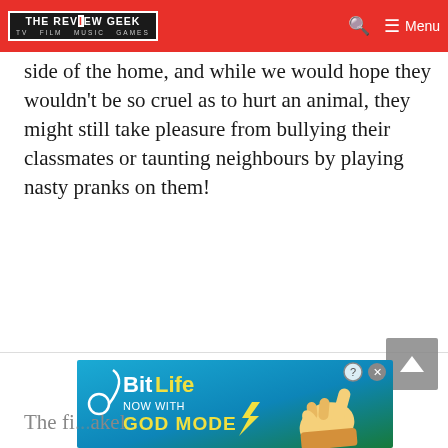THE REVIEW GEEK · TV FILM MUSIC GAMES
certain of what our own children are getting up to outside of the home, and while we would hope they wouldn't be so cruel as to hurt an animal, they might still take pleasure from bullying their classmates or taunting neighbours by playing nasty pranks on them!
[Figure (other): Advertisement banner for BitLife game: 'NOW WITH GOD MODE' on a blue-green gradient background with cartoon hand graphic]
The fi...akel